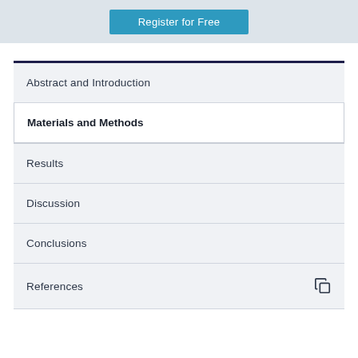[Figure (other): Register for Free button on a light grey banner background]
Abstract and Introduction
Materials and Methods
Results
Discussion
Conclusions
References